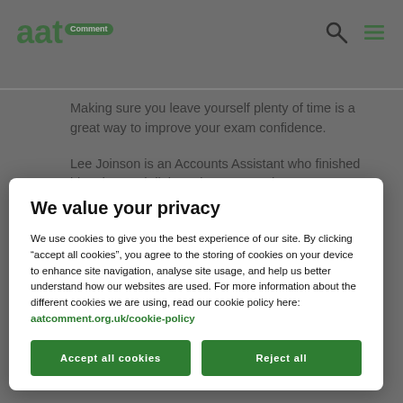aat Comment
Making sure you leave yourself plenty of time is a great way to improve your exam confidence.
Lee Joinson is an Accounts Assistant who finished his advanced diploma last year and
We value your privacy
We use cookies to give you the best experience of our site. By clicking “accept all cookies”, you agree to the storing of cookies on your device to enhance site navigation, analyse site usage, and help us better understand how our websites are used. For more information about the different cookies we are using, read our cookie policy here: aatcomment.org.uk/cookie-policy
Accept all cookies
Reject all